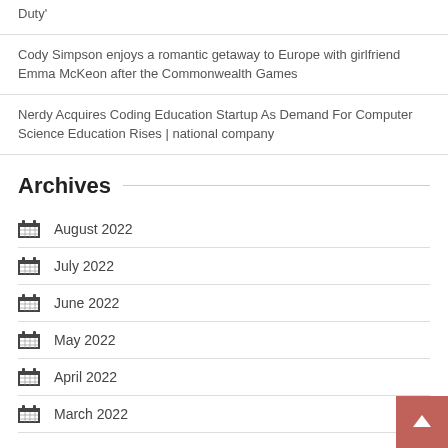Duty'
Cody Simpson enjoys a romantic getaway to Europe with girlfriend Emma McKeon after the Commonwealth Games
Nerdy Acquires Coding Education Startup As Demand For Computer Science Education Rises | national company
Archives
August 2022
July 2022
June 2022
May 2022
April 2022
March 2022